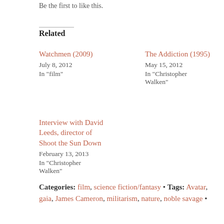Be the first to like this.
Related
Watchmen (2009)
July 8, 2012
In "film"
The Addiction (1995)
May 15, 2012
In "Christopher Walken"
Interview with David Leeds, director of Shoot the Sun Down
February 13, 2013
In "Christopher Walken"
Categories: film, science fiction/fantasy • Tags: Avatar, gaia, James Cameron, militarism, nature, noble savage •